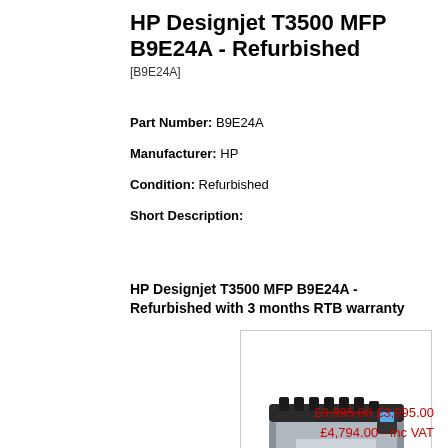HP Designjet T3500 MFP B9E24A - Refurbished
[B9E24A]
Part Number: B9E24A
Manufacturer: HP
Condition: Refurbished
Short Description:
HP Designjet T3500 MFP B9E24A - Refurbished with 3 months RTB warranty
[Figure (photo): HP Designjet T3500 MFP large format printer on stand, front view, silver and black body with multiple ink slots on top and paper rolls]
£3,995.00 £3,995.00
£4,794.00 - Inc VAT